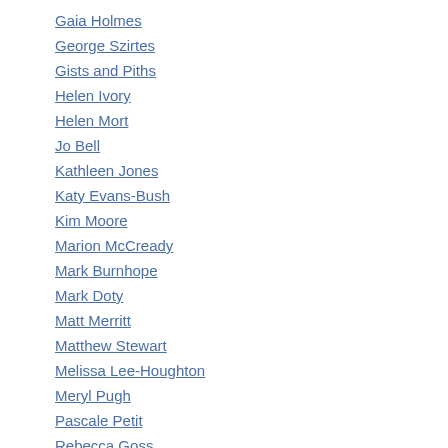Gaia Holmes
George Szirtes
Gists and Piths
Helen Ivory
Helen Mort
Jo Bell
Kathleen Jones
Katy Evans-Bush
Kim Moore
Marion McCready
Mark Burnhope
Mark Doty
Matt Merritt
Matthew Stewart
Melissa Lee-Houghton
Meryl Pugh
Pascale Petit
Rebecca Goss
Rethabile Masilo